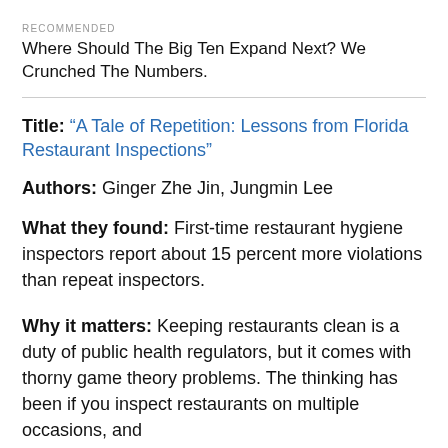RECOMMENDED
Where Should The Big Ten Expand Next? We Crunched The Numbers.
Title: “A Tale of Repetition: Lessons from Florida Restaurant Inspections”
Authors: Ginger Zhe Jin, Jungmin Lee
What they found: First-time restaurant hygiene inspectors report about 15 percent more violations than repeat inspectors.
Why it matters: Keeping restaurants clean is a duty of public health regulators, but it comes with thorny game theory problems. The thinking has been if you inspect restaurants on multiple occasions, and